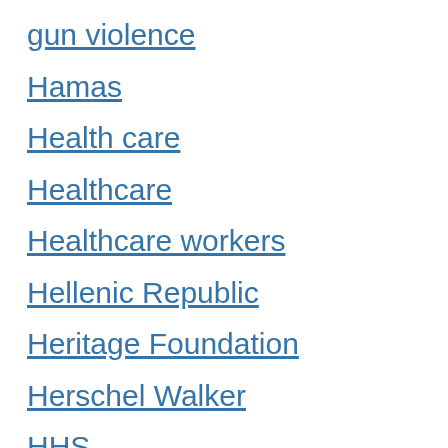gun violence
Hamas
Health care
Healthcare
Healthcare workers
Hellenic Republic
Heritage Foundation
Herschel Walker
HHS
High Mobility Artillery Rocket Systems
higher education
HIMARS
House
House Democrats
House Jan. 6 committee